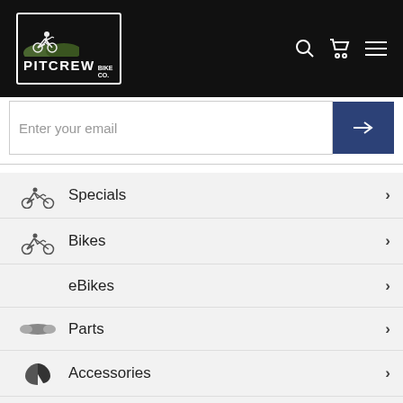[Figure (logo): Pitcrew Bike Co. logo with mountain biker silhouette on dark header]
Enter your email
Specials
Bikes
eBikes
Parts
Accessories
Helmets